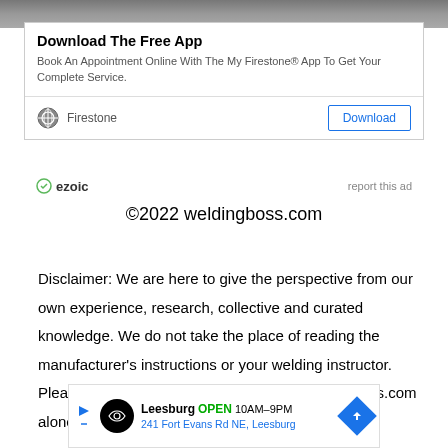[Figure (screenshot): Top image strip showing a blurred/greyed banner area at the top of the page]
[Figure (screenshot): Advertisement box for Firestone app - Download The Free App. Book An Appointment Online With The My Firestone® App To Get Your Complete Service. Brand: Firestone with globe icon. Download button.]
ezoic   report this ad
©2022 weldingboss.com
Disclaimer: We are here to give the perspective from our own experience, research, collective and curated knowledge.  We do not take the place of reading the manufacturer's instructions or your welding instructor.  Please do your own diligence.  Reading weldinghoss.com alone does not constitute said diligence
[Figure (screenshot): Bottom banner ad for Leesburg location - OPEN 10AM-9PM, 241 Fort Evans Rd NE, Leesburg with navigation arrow icon]